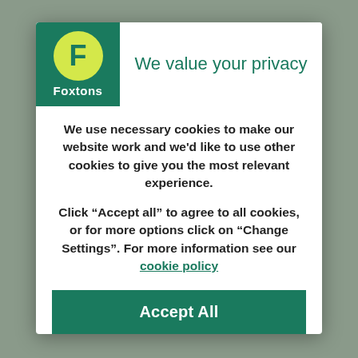[Figure (logo): Foxtons logo: green square background with yellow circle containing white F letter and Foxtons text below]
We value your privacy
We use necessary cookies to make our website work and we'd like to use other cookies to give you the most relevant experience.
Click “Accept all” to agree to all cookies, or for more options click on “Change Settings”. For more information see our cookie policy